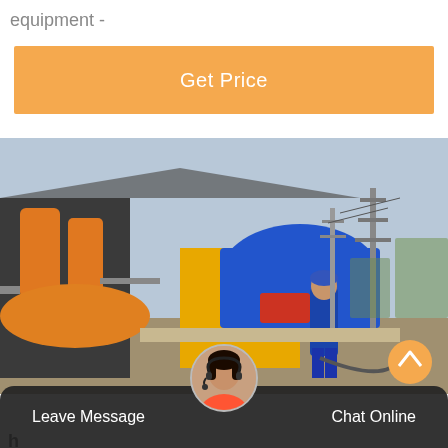equipment -
Get Price
[Figure (photo): Industrial equipment at a worksite: orange compressed gas cylinders and machinery on the left, a worker in blue coveralls in the center, yellow industrial vehicle in the background, electrical towers/substation visible on the right side.]
Leave Message
Chat Online